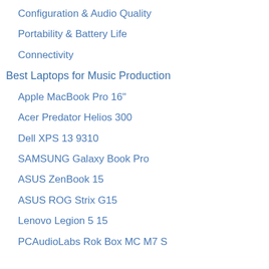Configuration & Audio Quality
Portability & Battery Life
Connectivity
Best Laptops for Music Production
Apple MacBook Pro 16"
Acer Predator Helios 300
Dell XPS 13 9310
SAMSUNG Galaxy Book Pro
ASUS ZenBook 15
ASUS ROG Strix G15
Lenovo Legion 5 15
PCAudioLabs Rok Box MC M7 S